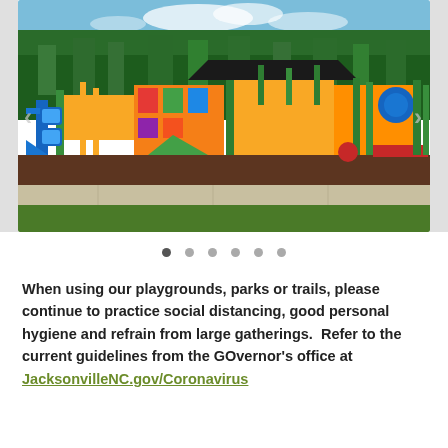[Figure (photo): Colorful playground equipment with slides, climbing structures, and shade elements set in a park with green trees and grass background. A sidewalk path is visible in the foreground.]
When using our playgrounds, parks or trails, please continue to practice social distancing, good personal hygiene and refrain from large gatherings.  Refer to the current guidelines from the GOvernor's office at JacksonvilleNC.gov/Coronavirus